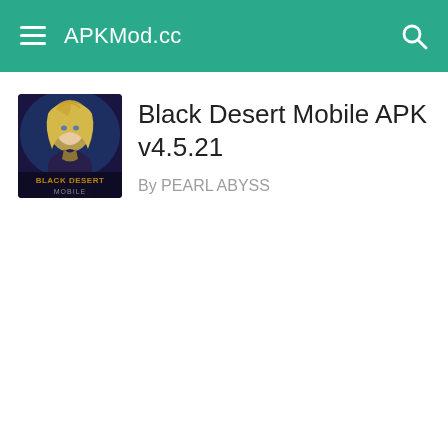APKMod.cc
[Figure (illustration): Black Desert Mobile game app icon showing a blonde female warrior character with the text BLACK DESERT MOBILE on a dark fantasy background]
Black Desert Mobile APK v4.5.21
By PEARL ABYSS